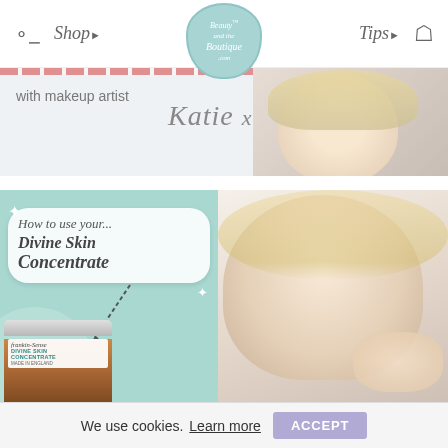Shop▶ | Beauty and the Boutique .com | Tips▶
[Figure (screenshot): Website header banner with 'with makeup artist' text and 'Katie xo' signature, with photo of blonde woman applying makeup]
[Figure (photo): How to use your... Divine Skin Concentrate - teal card with product jar (Frankin-Sense Divine Skin Concentrate Made in England) and dashed arrow graphic]
[Figure (photo): Blonde woman smiling and holding product on hand]
We use cookies. Learn more
ACCEPT